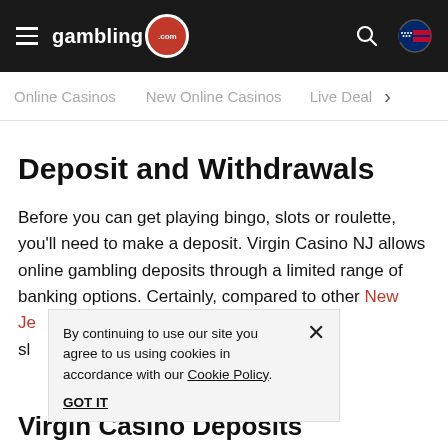gambling.com
Online Casinos   New Online Casinos   Live Dea…
Deposit and Withdrawals
Before you can get playing bingo, slots or roulette, you'll need to make a deposit. Virgin Casino NJ allows online gambling deposits through a limited range of banking options. Certainly, compared to other New Je… no rating drops sl…
By continuing to use our site you agree to us using cookies in accordance with our Cookie Policy. GOT IT
Virgin Casino Deposits